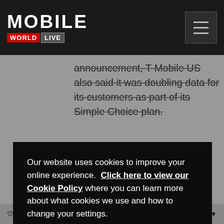MOBILE WORLD LIVE
announcement, T-Mobile US also said it was doubling data for its customers as part of its Simple Choice plan.
Our website uses cookies to improve your online experience.  Click here to view our Cookie Policy where you can learn more about what cookies we use and how to change your settings.
Yes, I agree to the use of cookies.
Manage Cookies
Favorite    Sort by Best